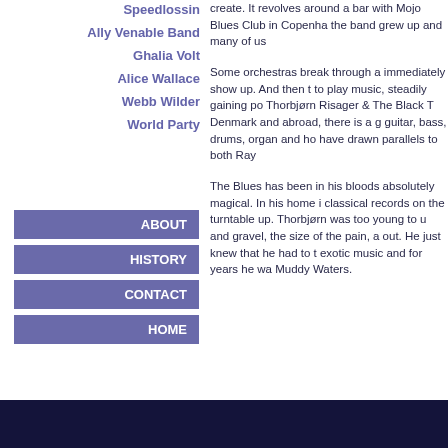Speedlossin
Ally Venable Band
Ghalia Volt
Alice Wallace
Webb Wilder
World Party
ABOUT
HISTORY
CONTACT
HOME
create. It revolves around a bar with Mojo Blues Club in Copenhagen the band grew up and many of us
Some orchestras break through a immediately show up. And then t to play music, steadily gaining po Thorbjørn Risager & The Black T Denmark and abroad, there is a g guitar, bass, drums, organ and ho have drawn parallels to both Ray
The Blues has been in his bloods absolutely magical. In his home i classical records on the turntable up. Thorbjørn was too young to u and gravel, the size of the pain, a out. He just knew that he had to t exotic music and for years he wa Muddy Waters.